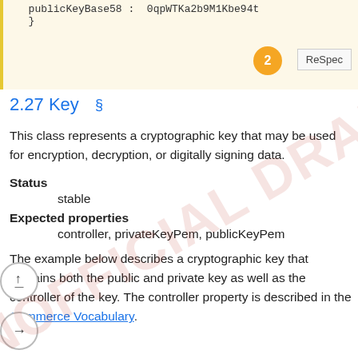publicKeyBase58 :  0qpWTKa2b9M1Kbe94t
    }
2.27 Key §
This class represents a cryptographic key that may be used for encryption, decryption, or digitally signing data.
Status
    stable
Expected properties
    controller, privateKeyPem, publicKeyPem
The example below describes a cryptographic key that contains both the public and private key as well as the controller of the key. The controller property is described in the Commerce Vocabulary.